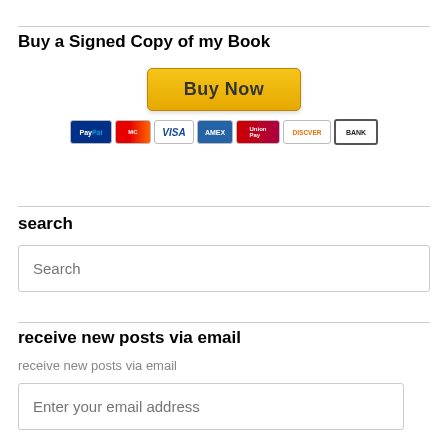Buy a Signed Copy of my Book
[Figure (other): Buy Now button with payment method icons (PayPal, Mastercard, Visa, American Express, UnionPay, Discover, Bank)]
search
Search
receive new posts via email
receive new posts via email
Enter your email address